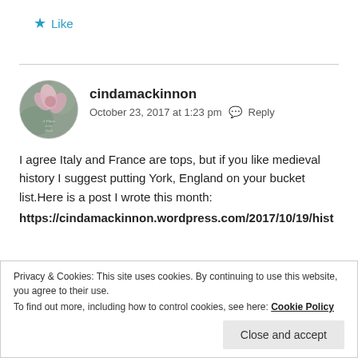★ Like
cindamackinnon
October 23, 2017 at 1:23 pm  Reply
I agree Italy and France are tops, but if you like medieval history I suggest putting York, England on your bucket list.Here is a post I wrote this month:
https://cindamackinnon.wordpress.com/2017/10/19/hist
Privacy & Cookies: This site uses cookies. By continuing to use this website, you agree to their use.
To find out more, including how to control cookies, see here: Cookie Policy
Close and accept